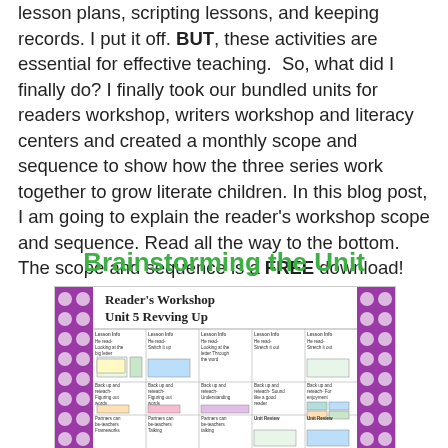lesson plans, scripting lessons, and keeping records. I put it off. BUT, these activities are essential for effective teaching.  So, what did I finally do? I finally took our bundled units for readers workshop, writers workshop and literacy centers and created a monthly scope and sequence to show how the three series work together to grow literate children. In this blog post, I am going to explain the reader's workshop scope and sequence. Read all the way to the bottom. The scope and sequence is a FREE download!
Brainstorming the Unit
[Figure (illustration): Reader's Workshop Unit 5 Revving Up – a planning grid/scope and sequence document with a purple polka-dot border, showing a table with lesson cells containing text and small thumbnail images of lesson materials.]